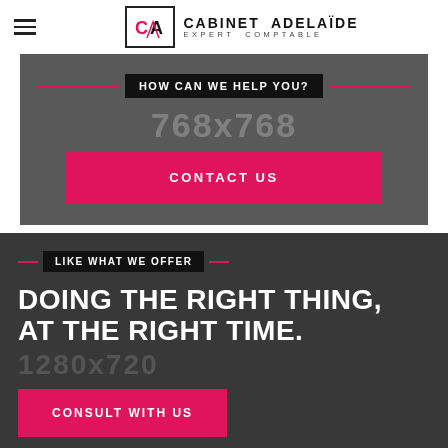[Figure (logo): Cabinet Adelaïde Expert Comptable logo with CA monogram in a box and text to the right]
HOW CAN WE HELP YOU?
[Figure (other): Placeholder watermark image showing 768x768]
CONTACT US
LIKE WHAT WE OFFER
DOING THE RIGHT THING, AT THE RIGHT TIME.
[Figure (other): Placeholder watermark image showing 1280x720]
CONSULT WITH US